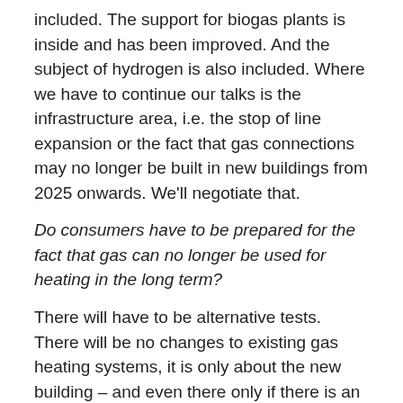included. The support for biogas plants is inside and has been improved. And the subject of hydrogen is also included. Where we have to continue our talks is the infrastructure area, i.e. the stop of line expansion or the fact that gas connections may no longer be built in new buildings from 2025 onwards. We'll negotiate that.
Do consumers have to be prepared for the fact that gas can no longer be used for heating in the long term?
There will have to be alternative tests. There will be no changes to existing gas heating systems, it is only about the new building – and even there only if there is an alternative to gas heating, such as district heating.